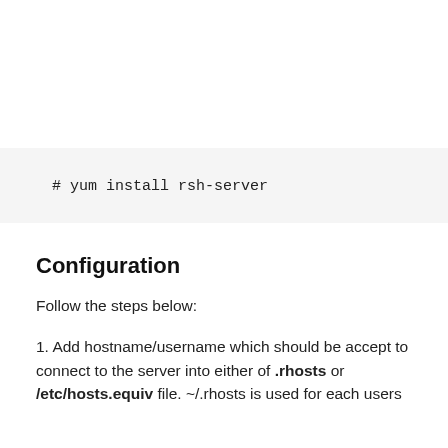[Figure (screenshot): Code block with gray background showing shell command: # yum install rsh-server]
Configuration
Follow the steps below:
1. Add hostname/username which should be accept to connect to the server into either of .rhosts or /etc/hosts.equiv file. ~/.rhosts is used for each users